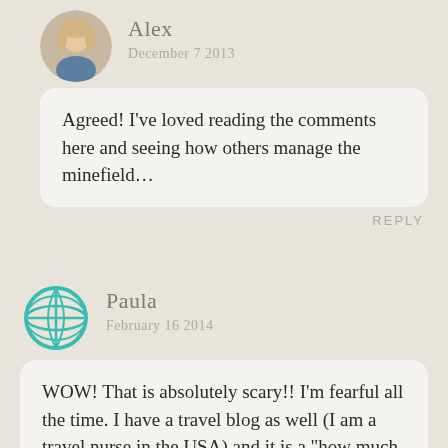[Figure (photo): Circular avatar photo of Alex, a woman with blonde hair]
Alex
December 7 2013
Agreed! I’ve loved reading the comments here and seeing how others manage the minefield…
REPLY
[Figure (illustration): Globe/world icon in teal color]
Paula
February 16 2014
WOW! That is absolutely scary!! I’m fearful all the time. I have a travel blog as well (I am a travel nurse in the USA) and it is a “how much do I post” and “I hope I don’t post enough to give away